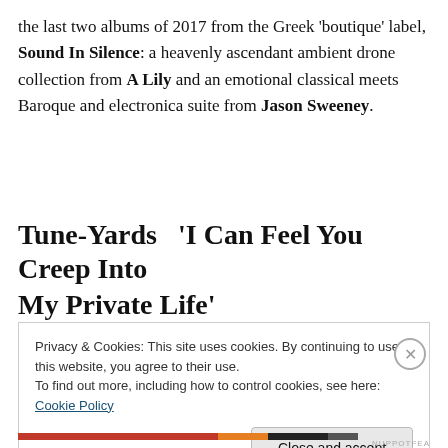the last two albums of 2017 from the Greek 'boutique' label, Sound In Silence: a heavenly ascendant ambient drone collection from A Lily and an emotional classical meets Baroque and electronica suite from Jason Sweeney.
Tune-Yards  'I Can Feel You Creep Into My Private Life'
Privacy & Cookies: This site uses cookies. By continuing to use this website, you agree to their use.
To find out more, including how to control cookies, see here: Cookie Policy